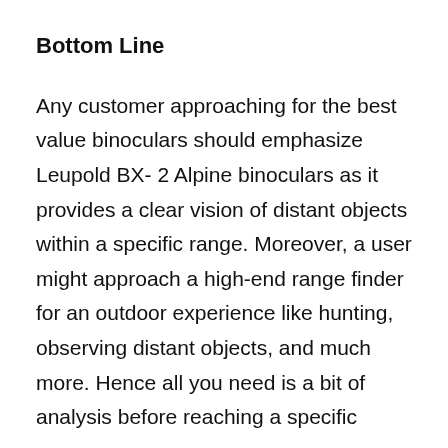Bottom Line
Any customer approaching for the best value binoculars should emphasize Leupold BX- 2 Alpine binoculars as it provides a clear vision of distant objects within a specific range. Moreover, a user might approach a high-end range finder for an outdoor experience like hunting, observing distant objects, and much more. Hence all you need is a bit of analysis before reaching a specific